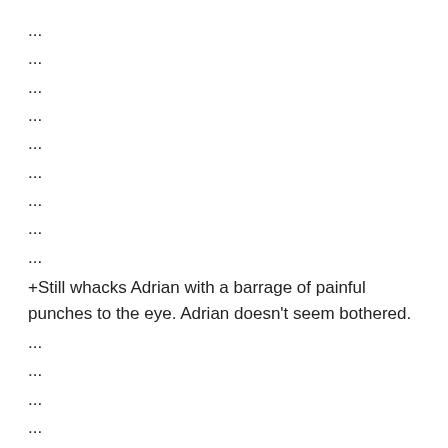...
...
...
...
...
...
...
...
...
+Still whacks Adrian with a barrage of painful punches to the eye. Adrian doesn't seem bothered.
...
...
...
...
-Still lunges with a series of right uppercuts to the face, but Adrian ducks.
...